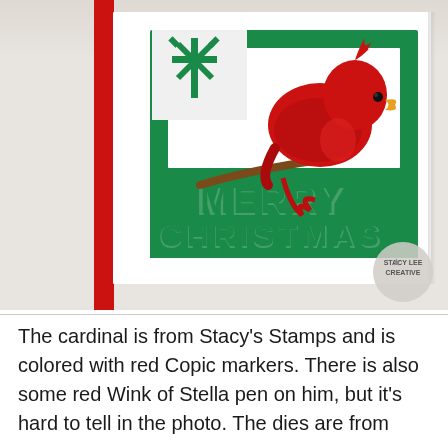[Figure (photo): A Christmas card featuring a red cardinal bird perched on a branch, colored with Copic markers. The card has a red left border, a white base, and a green die-cut frame with 'MERRY CHRISTMAS' text. There is also a white snowflake die cut in the upper left of the green frame. A circular logo watermark reading 'STACY LEE CREATIVE' appears in the lower right of the photo.]
The cardinal is from Stacy's Stamps and is colored with red Copic markers. There is also some red Wink of Stella pen on him, but it's hard to tell in the photo. The dies are from